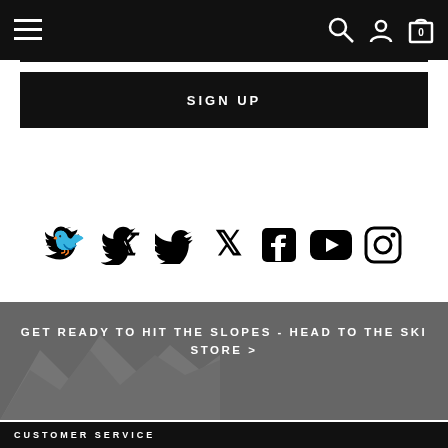[Figure (screenshot): Website navigation bar with hamburger menu on left and search, account, cart icons on right, dark background]
SIGN UP
[Figure (illustration): Social media icons row: Twitter, Facebook, YouTube, Instagram]
GET READY TO HIT THE SLOPES - HEAD TO THE SKI STORE >
CUSTOMER SERVICE